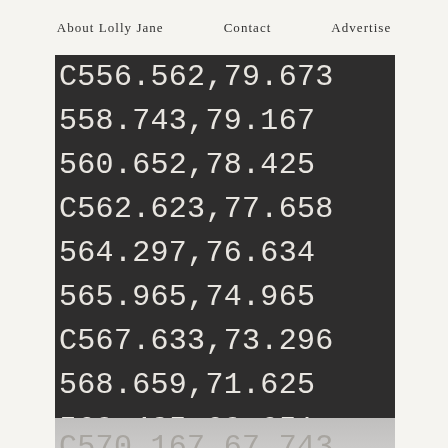About Lolly Jane   Contact   Advertise
C556.562,79.673
558.743,79.167
560.652,78.425
C562.623,77.658
564.297,76.634
565.965,74.965
C567.633,73.296
568.659,71.625
569.425,69.651
C570.167,67.743